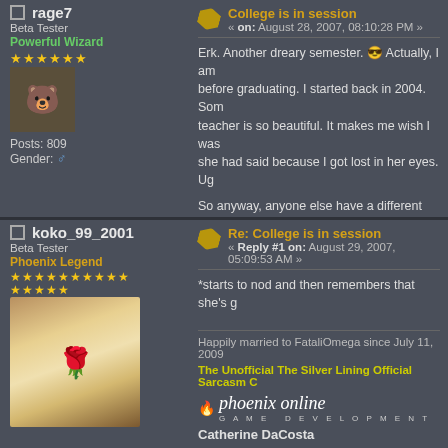rage7
Beta Tester
Powerful Wizard
★★★★★★
[Figure (illustration): Pixel art avatar of Winnie the Pooh in red shirt]
Posts: 809
Gender: ♂
College is in session
« on: August 28, 2007, 08:10:28 PM »
Erk. Another dreary semester. Actually, I am before graduating. I started back in 2004. Som teacher is so beautiful. It makes me wish I was she had said because I got lost in her eyes. Ug
So anyway, anyone else have a different take
koko_99_2001
Beta Tester
Phoenix Legend
★★★★★★★★★★★★★★★
[Figure (illustration): Anime-style portrait of a young woman with dark hair and red flower]
Re: College is in session
« Reply #1 on: August 29, 2007, 05:09:53 AM »
*starts to nod and then remembers that she's g
Happily married to FataliOmega since July 11, 2009
The Unofficial The Silver Lining Official Sarcasm C
[Figure (logo): Phoenix Online Game Development logo with flame icon]
Catherine DaCosta